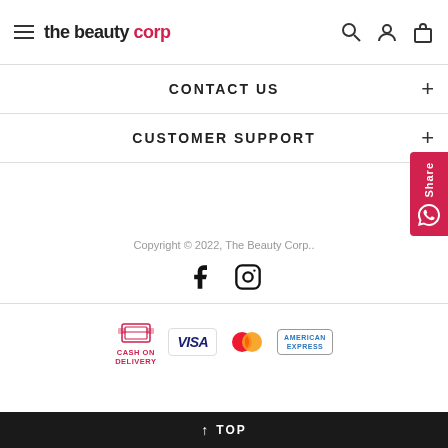the beauty corp — navigation header with hamburger menu, search, user, and bag icons
CONTACT US
CUSTOMER SUPPORT
[Figure (other): WhatsApp Share button on right side]
Copyright © 2022, The Beauty Corp..
[Figure (other): Social media icons: Facebook and Instagram]
[Figure (other): Payment method logos: Cash on Delivery, VISA, Mastercard, American Express]
↑ TOP